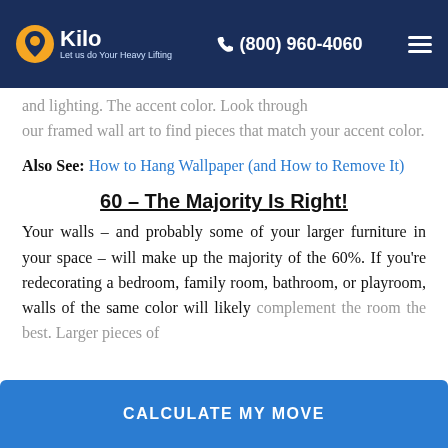Kilo – Let us do Your Heavy Lifting | (800) 960-4060
our framed wall art to find pieces that match your accent color.
Also See: How to Hang Wallpaper (and How to Remove It)
60 – The Majority Is Right!
Your walls – and probably some of your larger furniture in your space – will make up the majority of the 60%. If you're redecorating a bedroom, family room, bathroom, or playroom, walls of the same color will likely complement the room the best. Larger pieces of and decor are frequently the constituents of